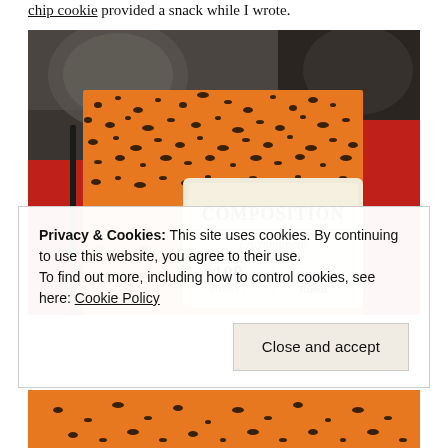chip cookie provided a snack while I wrote.
[Figure (photo): An orange and black speckled composition notebook with a label reading 'COMPOSITION Enchantment 100 SHEETS College Ruled', placed on a red surface with a pen beside it. Dark artwork visible in the background.]
Privacy & Cookies: This site uses cookies. By continuing to use this website, you agree to their use.
To find out more, including how to control cookies, see here: Cookie Policy
Close and accept